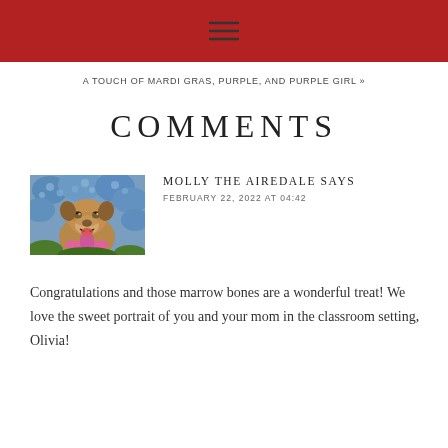≡
A TOUCH OF MARDI GRAS, PURPLE, AND PURPLE GIRL »
COMMENTS
[Figure (photo): A photo of Molly the Airedale dog with a pink harness, sitting in front of blue hydrangea flowers]
MOLLY THE AIREDALE SAYS
FEBRUARY 22, 2022 AT 04:42
Congratulations and those marrow bones are a wonderful treat! We love the sweet portrait of you and your mom in the classroom setting, Olivia!